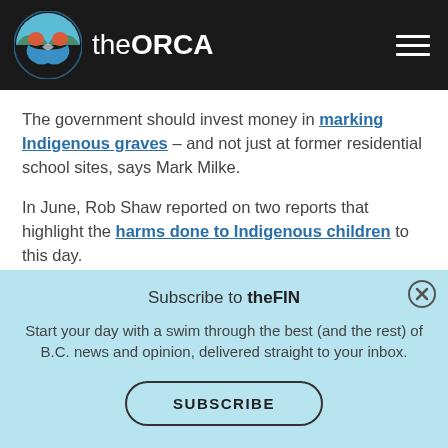the ORCA
The government should invest money in marking Indigenous graves – and not just at former residential school sites, says Mark Milke.
In June, Rob Shaw reported on two reports that highlight the harms done to Indigenous children to this day.
First Nations need clean, safe drinking water – NOW, says Joseph Quesnel.
Subscribe to theFIN
Start your day with a swim through the best (and the rest) of B.C. news and opinion, delivered straight to your inbox.
SUBSCRIBE